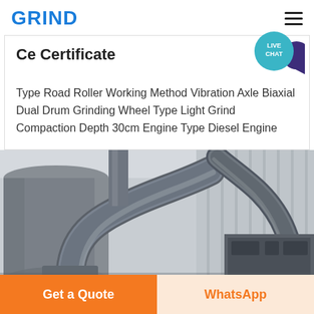GRIND
Ce Certificate
Type Road Roller Working Method Vibration Axle Biaxial Dual Drum Grinding Wheel Type Light Grind Compaction Depth 30cm Engine Type Diesel Engine
[Figure (photo): Industrial machinery with large metal pipes and ductwork inside a factory or industrial facility]
Get a Quote
WhatsApp